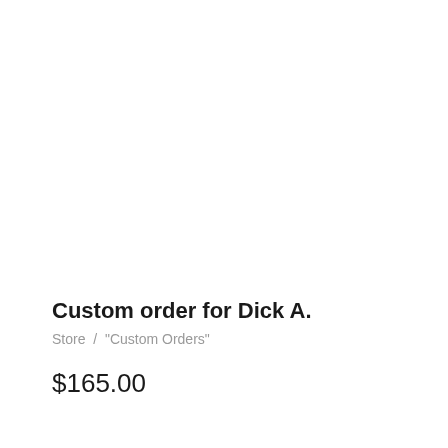Custom order for Dick A.
Store  /  "Custom Orders"
$165.00